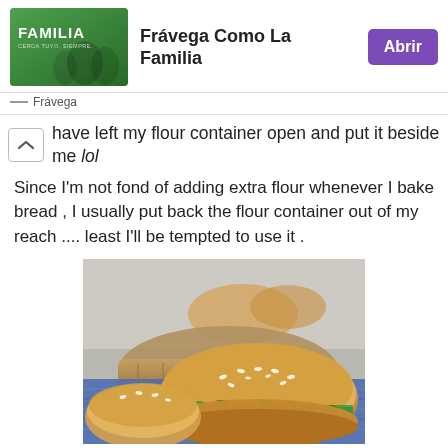[Figure (infographic): Advertisement banner for Frávega Como La Familia showing people on a green background with Abrir button]
Frávega
have left my flour container open and put it beside me lol
Since I'm not fond of adding extra flour whenever I bake bread , I usually put back the flour container out of my reach .... least I'll be tempted to use it .
[Figure (photo): Close-up photo of sesame seed buns / bread rolls, with one bun open showing green leafy filling, placed on a blue cloth, with more buns in a basket in the background]